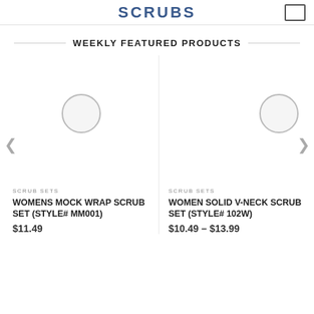SCRUBS
WEEKLY FEATURED PRODUCTS
[Figure (other): Product image placeholder circle for Womens Mock Wrap Scrub Set]
SCRUB SETS
WOMENS MOCK WRAP SCRUB SET (STYLE# MM001)
$11.49
[Figure (other): Product image placeholder circle for Women Solid V-Neck Scrub Set]
SCRUB SETS
WOMEN SOLID V-NECK SCRUB SET (STYLE# 102W)
$10.49 – $13.99